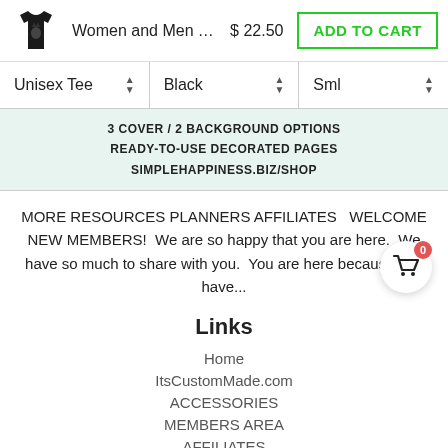[Figure (screenshot): E-commerce product bar with t-shirt icon, product name 'Women and Men Te...', price '$22.50', and green 'ADD TO CART' button]
[Figure (screenshot): Dropdown selectors row: Unisex Tee, Black, Sml]
[Figure (screenshot): Light green banner with text: 3 COVER / 2 BACKGROUND OPTIONS, READY-TO-USE DECORATED PAGES, SIMPLEHAPPINESS.BIZ/SHOP]
MORE RESOURCES PLANNERS AFFILIATES   WELCOME NEW MEMBERS!  We are so happy that you are here.  We have so much to share with you.  You are here because you have...
Links
Home
ItsCustomMade.com
ACCESSORIES
MEMBERS AREA
AFFILIATES
ABOUT US